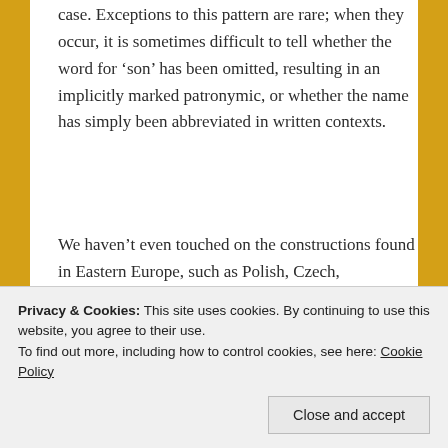case. Exceptions to this pattern are rare; when they occur, it is sometimes difficult to tell whether the word for ‘son’ has been omitted, resulting in an implicitly marked patronymic, or whether the name has simply been abbreviated in written contexts.
We haven’t even touched on the constructions found in Eastern Europe, such as Polish, Czech, Hungarian, etc. Perhaps we can devote a future post to these!
(Ministerio de Cultura, 1980.)
Privacy & Cookies: This site uses cookies. By continuing to use this website, you agree to their use.
To find out more, including how to control cookies, see here: Cookie Policy